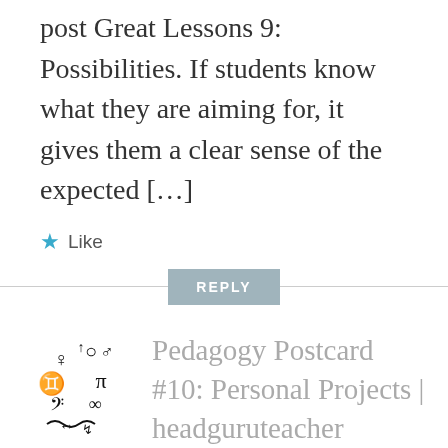post Great Lessons 9: Possibilities. If students know what they are aiming for, it gives them a clear sense of the expected […]
★ Like
REPLY
[Figure (logo): Decorative avatar made of typographic/symbolic characters arranged in a circular pattern]
Pedagogy Postcard #10: Personal Projects | headguruteacher
APRIL 4, 2014 AT 8:36 AM
[…] linking to Postcard #6 and Great